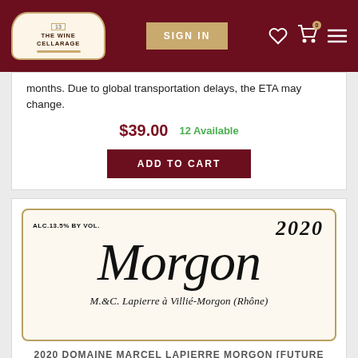THE WINE CELLARAGE — SIGN IN — Navigation
months. Due to global transportation delays, the ETA may change.
$39.00   12 Available
ADD TO CART
[Figure (illustration): Wine bottle label for 2020 Domaine Marcel Lapierre Morgon. Label reads: ALC.13.5% BY VOL., 2020, Morgon (in large italic script), M. & C. Lapierre à Villié-Morgon (Rhône)]
2020 DOMAINE MARCEL LAPIERRE MORGON [FUTURE ARRIVAL]